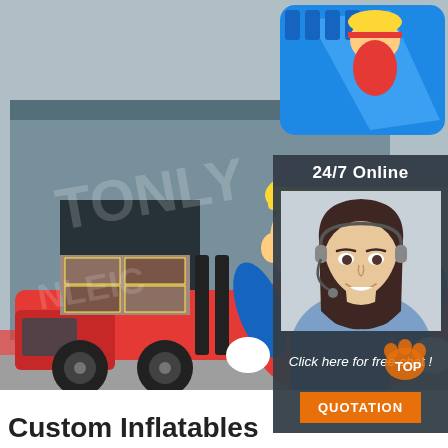[Figure (photo): Large inflatable construction-themed play structure including a forklift operator character and a slide with a worker cartoon figure, set outdoors in front of a warehouse building.]
[Figure (photo): Customer service agent woman with headset smiling, overlaid on dark panel with '24/7 Online' text and 'Click here for free chat!' call to action and orange QUOTATION button.]
[Figure (logo): Orange paw print with 'TOP' text logo in bottom right corner of main photo.]
Custom Inflatables